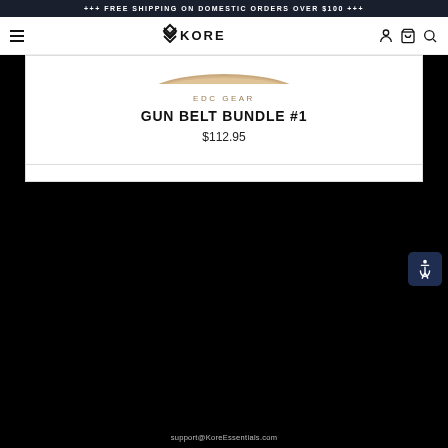+++ FREE SHIPPING ON DOMESTIC ORDERS OVER $100 +++
[Figure (logo): KORE Essentials logo with chevron icon and hamburger menu, cart, and search icons in navigation bar]
EDC GEAR
GUN BELT BUNDLE #1
$112.95
support@KoreEssentials.com